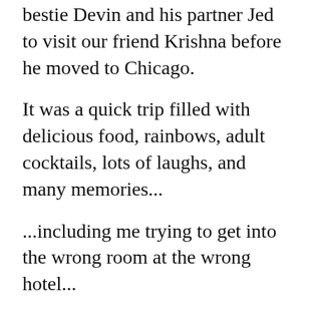bestie Devin and his partner Jed to visit our friend Krishna before he moved to Chicago.
It was a quick trip filled with delicious food, rainbows, adult cocktails, lots of laughs, and many memories...
...including me trying to get into the wrong room at the wrong hotel...
Yes, you did read that right.
But I will save that story if you wish to